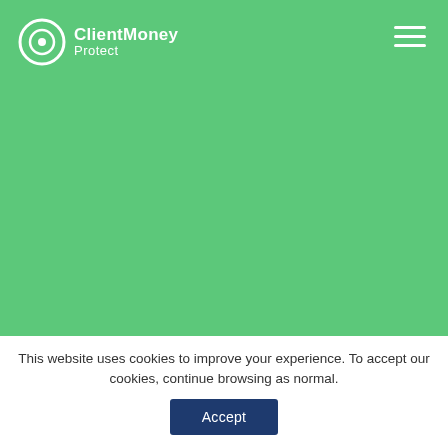[Figure (logo): ClientMoney Protect logo — circular icon with letter C and target symbol in white on green background, followed by text 'ClientMoney' in bold white and 'Protect' below in regular white]
This website uses cookies to improve your experience. To accept our cookies, continue browsing as normal.
Accept